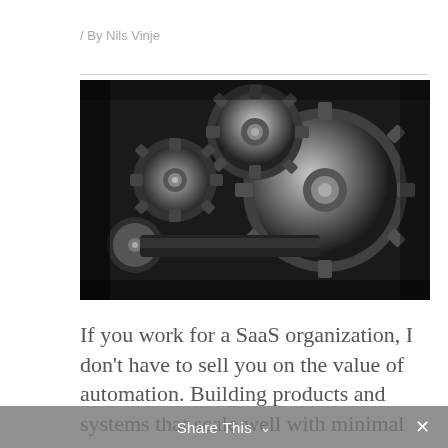/ By Nils Vinje
[Figure (photo): Black and white photograph of industrial mechanical gears and cogs interlocking together]
If you work for a SaaS organization, I don't have to sell you on the value of automation. Building products and systems that scale well with minimal